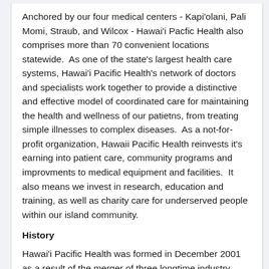Anchored by our four medical centers - Kapi'olani, Pali Momi, Straub, and Wilcox - Hawai'i Pacfic Health also comprises more than 70 convenient locations statewide.  As one of the state's largest health care systems, Hawai'i Pacific Health's network of doctors and specialists work together to provide a distinctive and effective model of coordinated care for maintaining the health and wellness of our patietns, from treating simple illnesses to complex diseases.  As a not-for-profit organization, Hawaii Pacific Health reinvests it's earning into patient care, community programs and improvments to medical equipment and facilities.  It also means we invest in research, education and training, as well as charity care for underserved people within our island community.
History
Hawai'i Pacific Health was formed in December 2001 as a result of the merger of three longtime industry leaders, Kapi'olani Health, Straub Medical Center and Wilcox